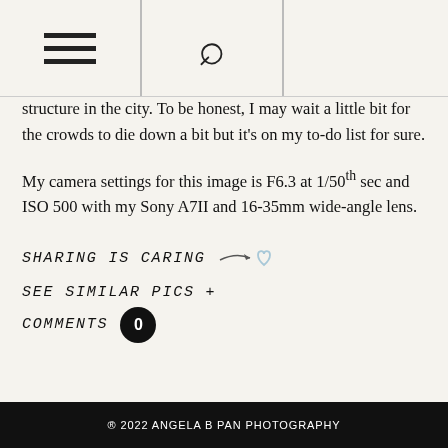[hamburger menu icon] [search icon]
structure in the city. To be honest, I may wait a little bit for the crowds to die down a bit but it's on my to-do list for sure.
My camera settings for this image is F6.3 at 1/50th sec and ISO 500 with my Sony A7II and 16-35mm wide-angle lens.
SHARING IS CARING
SEE SIMILAR PICS +
COMMENTS 0
© 2022 ANGELA B PAN PHOTOGRAPHY